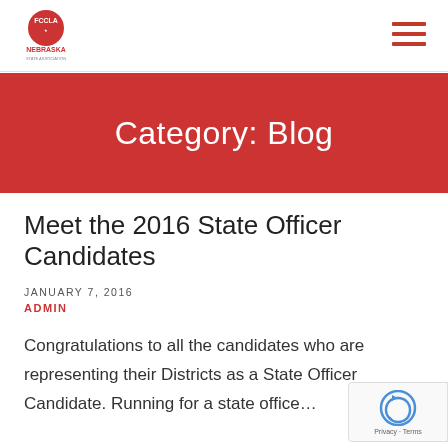FCCLA Nebraska
Category: Blog
Meet the 2016 State Officer Candidates
JANUARY 7, 2016
ADMIN
Congratulations to all the candidates who are representing their Districts as a State Officer Candidate. Running for a state office...